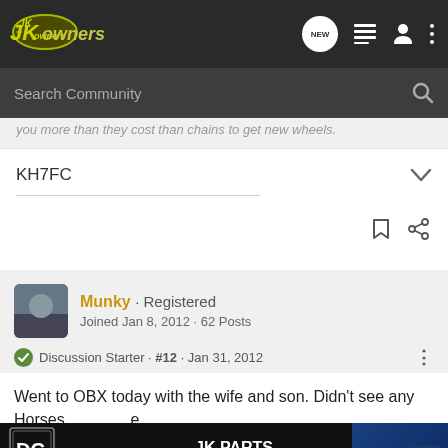JKOwners - community forum navigation bar with logo, NEW bubble, list icon, profile icon, and more icon
Search Community
...you more than they cost than chains to get new wheels.
KH7FC
Munky · Registered
Joined Jan 8, 2012 · 62 Posts
Discussion Starter · #12 · Jan 31, 2012
Went to OBX today with the wife and son. Didn't see any Horses ... e roadway...
[Figure (screenshot): JK PARTS NOW IN STOCK advertisement banner overlay with DC Designs logo and JK badge/part image]